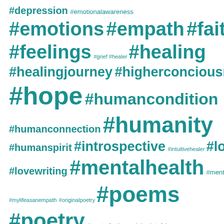[Figure (infographic): Tag cloud / word cloud of mental health and poetry related hashtags in teal/teal-blue color on white background. Tags vary in size indicating relative frequency or importance. Tags include: #depression, #emotionalawareness, #emotions, #empath, #faith, #fear, #feelings, #grief, #healer, #healing, #healingjourney, #higherconciousness, #hope, #humancondition, #humanconnection, #humanity, #humanspirit, #introspective, #intuitivehealer, #love, #lovewriting, #mentalhealth, #mentalstrength, #mylifeasanempath, #originalpoetry, #poems, #poetry, #poetryforthesoul, #pointofview, #processingemotions, #PTSD, #relationships, #sadness, #selfacceptance, #selfawareness, #selfcare]